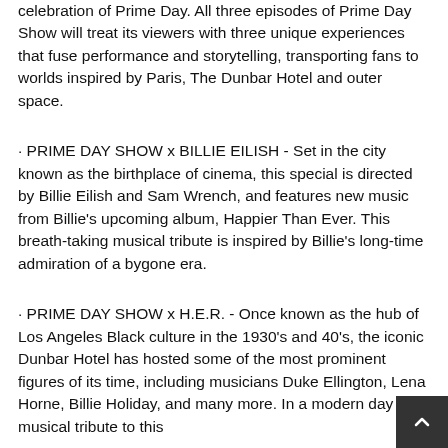celebration of Prime Day. All three episodes of Prime Day Show will treat its viewers with three unique experiences that fuse performance and storytelling, transporting fans to worlds inspired by Paris, The Dunbar Hotel and outer space.
· PRIME DAY SHOW x BILLIE EILISH - Set in the city known as the birthplace of cinema, this special is directed by Billie Eilish and Sam Wrench, and features new music from Billie's upcoming album, Happier Than Ever. This breath-taking musical tribute is inspired by Billie's long-time admiration of a bygone era.
· PRIME DAY SHOW x H.E.R. - Once known as the hub of Los Angeles Black culture in the 1930's and 40's, the iconic Dunbar Hotel has hosted some of the most prominent figures of its time, including musicians Duke Ellington, Lena Horne, Billie Holiday, and many more. In a modern day musical tribute to this